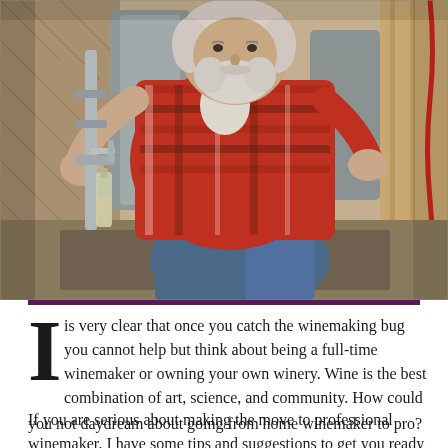[Figure (photo): An older man with white beard wearing a plaid flannel shirt crouching in a winery, working with stainless steel fermentation tanks and wine-making equipment. He appears to be filling or checking a bottle from a tap/spigot.]
is very clear that once you catch the winemaking bug you cannot help but think about being a full-time winemaker or owning your own winery. Wine is the best combination of art, science, and community. How could you not daydream about going from home winemaker to pro?
If you are serious about making the move to professional winemaker, I have some tips and suggestions to get you ready